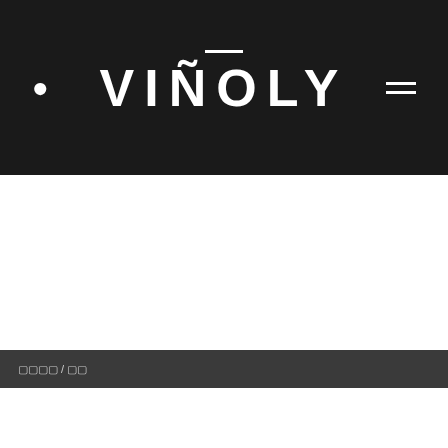VIÑOLY
🔲🔲🔲🔲 / 🔲🔲
432 Park Avenue, a residential apartment tower designed by Viñoly, is featured in the Skyscraper Museum's exhibition: SKY HIGH, open now. The exhibition examines the recent proliferation of slim, tall residential towers in Manhattan, and is organized around a series of themes and projects, beginning with: a history of slenderness and examines the special engineering issues, wind tunnel testing, and damping devices against sway that must be designed for tall and very thin structures; how contiguous lots and air rights are assembled; options for optimizing floor plans and ceiling heights; and many more topics.